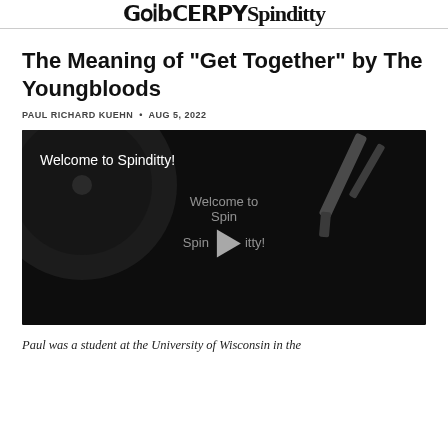Spinditty
The Meaning of "Get Together" by The Youngbloods
PAUL RICHARD KUEHN • AUG 5, 2022
[Figure (screenshot): Video thumbnail with dark background showing a vinyl record turntable and tonearm. Text overlay reads 'Welcome to Spinditty!' at top left. Center shows semi-transparent text 'Welcome to Spinditty!' with a play button triangle.]
Paul was a student at the University of Wisconsin in the